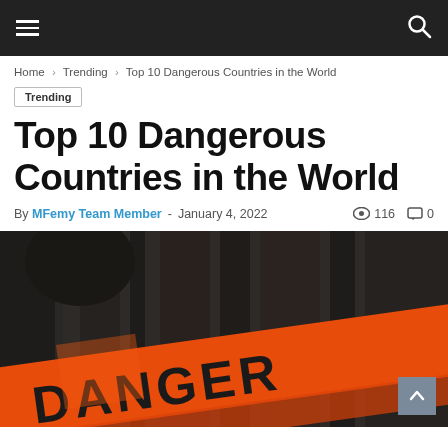Navigation bar with hamburger menu and search icon
Home › Trending › Top 10 Dangerous Countries in the World
Trending
Top 10 Dangerous Countries in the World
By MFemy Team Member - January 4, 2022   116   0
[Figure (photo): Close-up photo of orange danger tape with black text reading DANGER, with a blurred dark background showing a person's head]